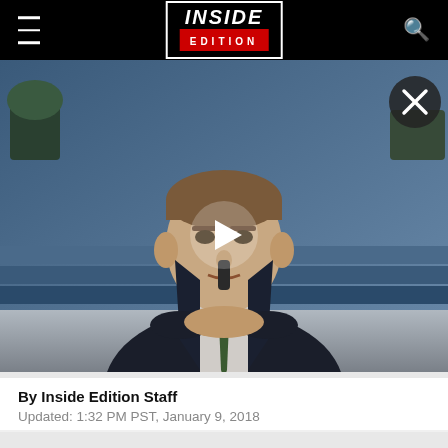[Figure (screenshot): Inside Edition website header with black navigation bar showing hamburger menu on left, Inside Edition logo in center (white text on black with red EDITION bar), and search icon on right]
[Figure (photo): Video thumbnail showing a man in a dark suit and green tie sitting at a news desk with a blue background, with a white play button overlay in the center and a dark close/X button in the top right corner]
By Inside Edition Staff
Updated: 1:32 PM PST, January 9, 2018